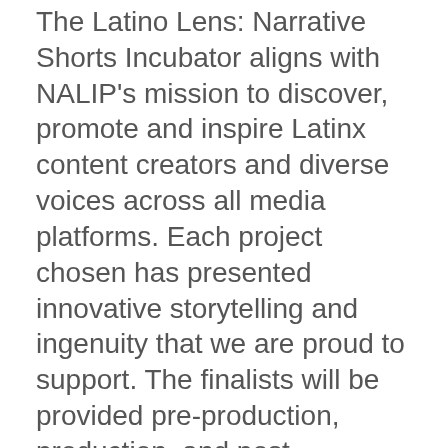The Latino Lens: Narrative Shorts Incubator aligns with NALIP's mission to discover, promote and inspire Latinx content creators and diverse voices across all media platforms. Each project chosen has presented  innovative storytelling and ingenuity that we are proud to support. The finalists will be provided pre-production, production, and post-production tools, resources and assets to support the successful completion of each film while later working with them on distribution strategy and outlets.
NALIP would like to extend a congratulations to the following